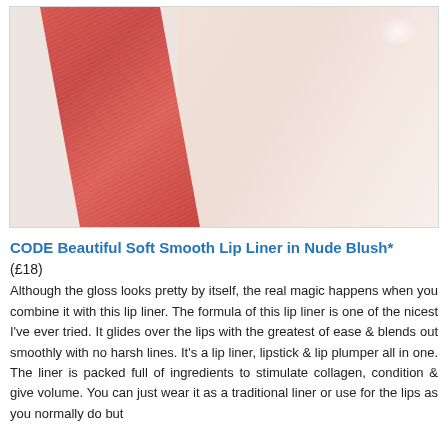[Figure (photo): Cosmetic swatch photo showing two lip product swatches on skin: a coral/red swatch on the left (lip liner) and a nude/blush tinted gloss swatch on the right.]
CODE Beautiful Soft Smooth Lip Liner in Nude Blush* (£18) Although the gloss looks pretty by itself, the real magic happens when you combine it with this lip liner. The formula of this lip liner is one of the nicest I've ever tried. It glides over the lips with the greatest of ease & blends out smoothly with no harsh lines. It's a lip liner, lipstick & lip plumper all in one. The liner is packed full of ingredients to stimulate collagen, condition & give volume. You can just wear it as a traditional liner or use for the lips as you normally do but